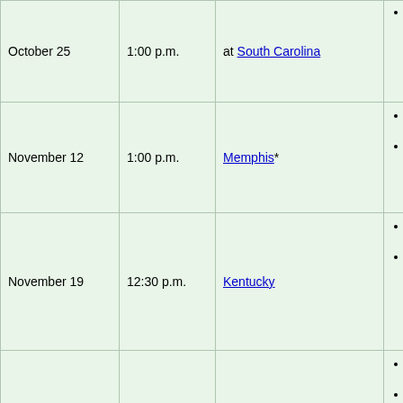| Date | Time | Opponent | Notes |
| --- | --- | --- | --- |
| October 25 | 1:00 p.m. | at South Carolina | • Cor... Sou... Car... |
| November 12 | 1:00 p.m. | Memphis* | • Ney... Sta... • Kno... Ten... |
| November 19 | 12:30 p.m. | Kentucky | • Ney... Sta... • Kno... Ten... (Ba... the ... |
| November 26 | 12:30 p.m. | at Vanderbilt | • Van... Sta... • Nas... Ten... (riv... |
|  |  |  | • Ben... Grit... Sta... |